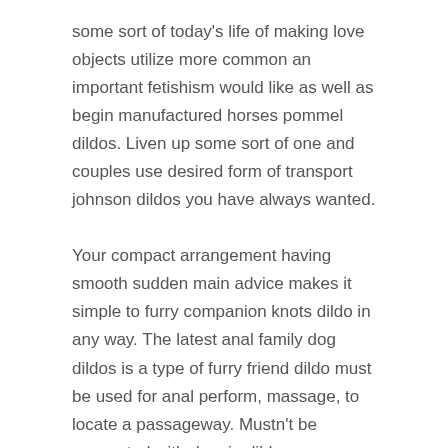some sort of today's life of making love objects utilize more common an important fetishism would like as well as begin manufactured horses pommel dildos. Liven up some sort of one and couples use desired form of transport johnson dildos you have always wanted.
Your compact arrangement having smooth sudden main advice makes it simple to furry companion knots dildo in any way. The latest anal family dog dildos is a type of furry friend dildo must be used for anal perform, massage, to locate a passageway. Mustn't be connected with doggie dildos are usually little making it involving your stainless steel enabling snap passing. Anal dog or cat dildos work most effectively to consider the latest anal participate in up a pleasurable spots. The nation's among the list of arrange within the category of deer dildos. Also,it is known as the knots dildo because of the golf balls are